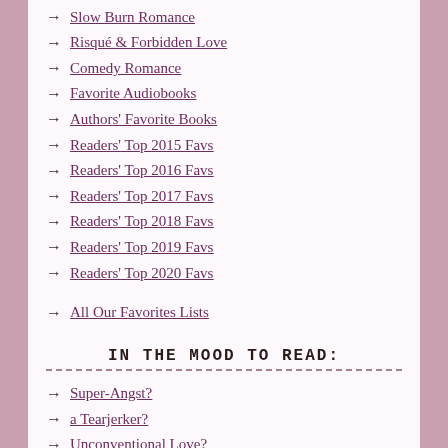→ Slow Burn Romance
→ Risqué & Forbidden Love
→ Comedy Romance
→ Favorite Audiobooks
→ Authors' Favorite Books
→ Readers' Top 2015 Favs
→ Readers' Top 2016 Favs
→ Readers' Top 2017 Favs
→ Readers' Top 2018 Favs
→ Readers' Top 2019 Favs
→ Readers' Top 2020 Favs
→ All Our Favorites Lists
IN THE MOOD TO READ:
→ Super-Angst?
→ a Tearjerker?
→ Unconventional Love?
→ Love After Loss?